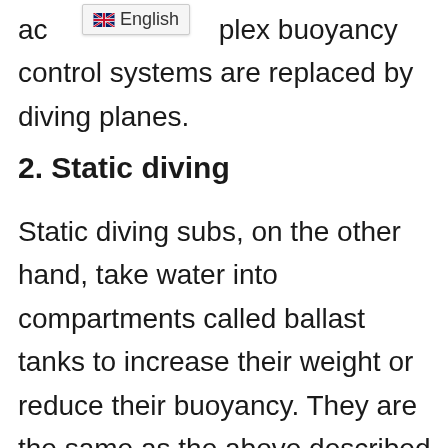ac...plex buoyancy control systems are replaced by diving planes.
2. Static diving
Static diving subs, on the other hand, take water into compartments called ballast tanks to increase their weight or reduce their buoyancy. They are the same as the above described dynamic models only much easier to control underwater. The model can dive at a